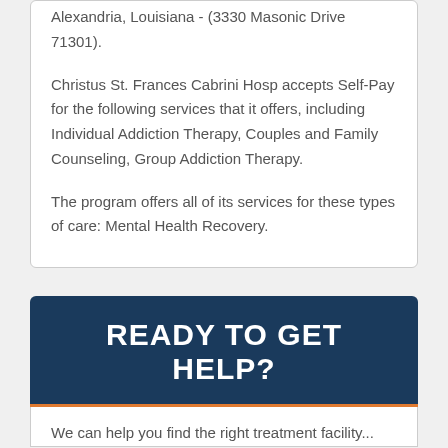Alexandria, Louisiana - (3330 Masonic Drive 71301).
Christus St. Frances Cabrini Hosp accepts Self-Pay for the following services that it offers, including Individual Addiction Therapy, Couples and Family Counseling, Group Addiction Therapy.
The program offers all of its services for these types of care: Mental Health Recovery.
READY TO GET HELP?
We can help you find the right treatment facility...